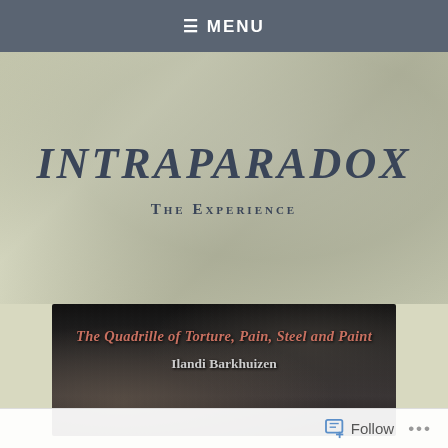≡ MENU
INTRAPARADOX
The Experience
[Figure (illustration): Dark textured book cover image with reddish-pink italic title text 'The Quadrille of Torture, Pain, Steel and Paint' and white author name 'Ilandi Barkhuizen' below it]
Follow ...